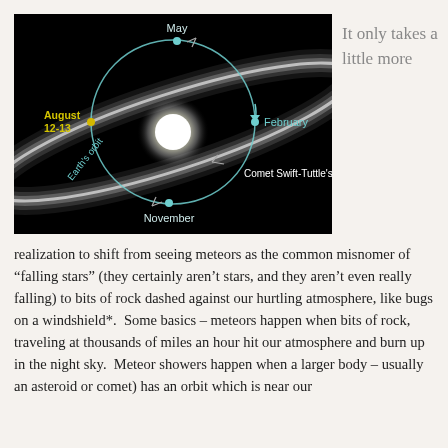[Figure (illustration): Diagram showing Earth's orbit (circular path with month labels: May at top, February at right, November at bottom, August 12-13 at left in yellow) intersecting with Comet Swift-Tuttle's orbit (elongated elliptical path shown as a glowing white streak). The Sun glows at center. A teal/cyan dot marks Earth's position at each labeled month. Background is black space.]
It only takes a little more
realization to shift from seeing meteors as the common misnomer of “falling stars” (they certainly aren’t stars, and they aren’t even really falling) to bits of rock dashed against our hurtling atmosphere, like bugs on a windshield*.  Some basics – meteors happen when bits of rock, traveling at thousands of miles an hour hit our atmosphere and burn up in the night sky.  Meteor showers happen when a larger body – usually an asteroid or comet) has an orbit which is near our